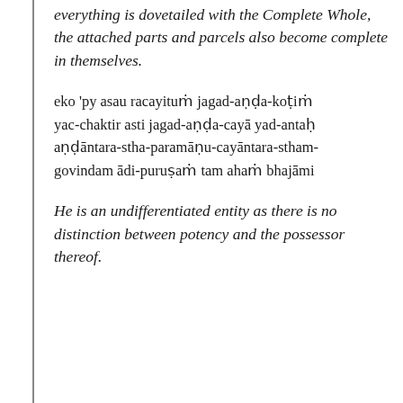everything is dovetailed with the Complete Whole, the attached parts and parcels also become complete in themselves.
eko 'py asau racayituṁ jagad-aṇḍa-koṭiṁ
yac-chaktir asti jagad-aṇḍa-cayā yad-antaḥ
aṇḍāntara-stha-paramāṇu-cayāntara-stham-
govindam ādi-puruṣaṁ tam ahaṁ bhajāmi
He is an undifferentiated entity as there is no distinction between potency and the possessor thereof. In His...